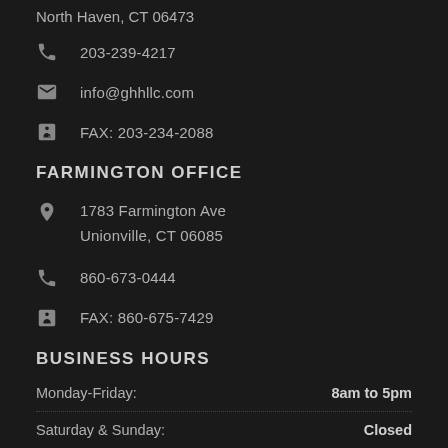North Haven, CT 06473
203-239-4217
info@ghhllc.com
FAX: 203-234-2088
FARMINGTON OFFICE
1783 Farmington Ave
Unionville, CT 06085
860-673-0444
FAX: 860-675-7429
BUSINESS HOURS
Monday-Friday: 8am to 5pm
Saturday & Sunday: Closed